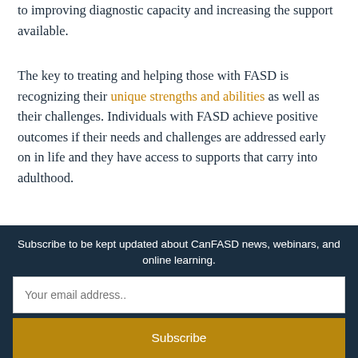to improving diagnostic capacity and increasing the support available.
The key to treating and helping those with FASD is recognizing their unique strengths and abilities as well as their challenges. Individuals with FASD achieve positive outcomes if their needs and challenges are addressed early on in life and they have access to supports that carry into adulthood.
When fully informed and trained, psychologists can help everyone achieve fulfilling and rewarding lives.
Subscribe to be kept updated about CanFASD news, webinars, and online learning.
Your email address..
Subscribe